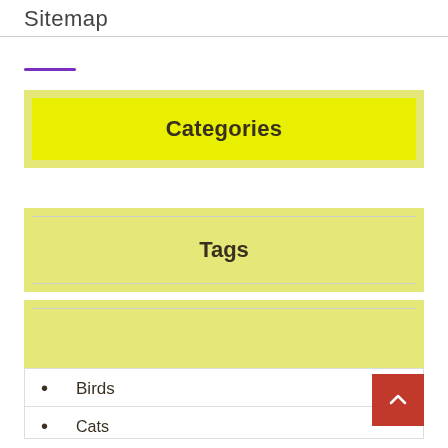Sitemap
Categories
Tags
Birds
Cats